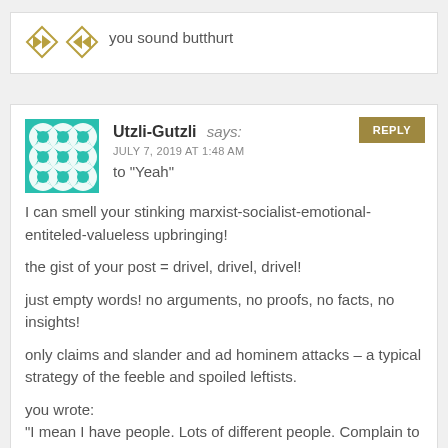you sound butthurt
Utzli-Gutzli says:
JULY 7, 2019 AT 1:48 AM
to "Yeah"
I can smell your stinking marxist-socialist-emotional-entiteled-valueless upbringing!

the gist of your post = drivel, drivel, drivel!

just empty words! no arguments, no proofs, no facts, no insights!

only claims and slander and ad hominem attacks – a typical strategy of the feeble and spoiled leftists.

you wrote:
"I mean I have people. Lots of different people. Complain to me all the time that this site is a